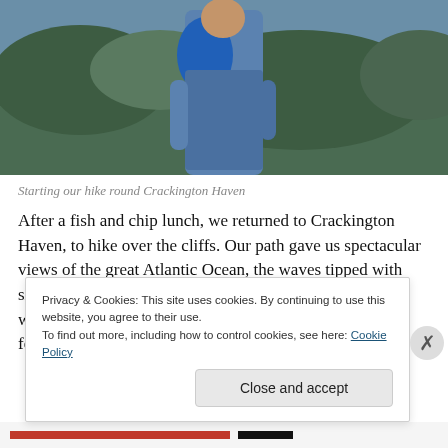[Figure (photo): Partial view of a person wearing a blue shirt and carrying a blue backpack, hiking through green coastal scrubland vegetation]
Starting our hike round Crackington Haven
After a fish and chip lunch, we returned to Crackington Haven, to hike over the cliffs. Our path gave us spectacular views of the great Atlantic Ocean, the waves tipped with silver and pearl. We are so high up, we feel as if we're walking on the roof of the world. As we look back to the footpaths we've climbed, it's hard to believe we
Privacy & Cookies: This site uses cookies. By continuing to use this website, you agree to their use.
To find out more, including how to control cookies, see here: Cookie Policy
Close and accept